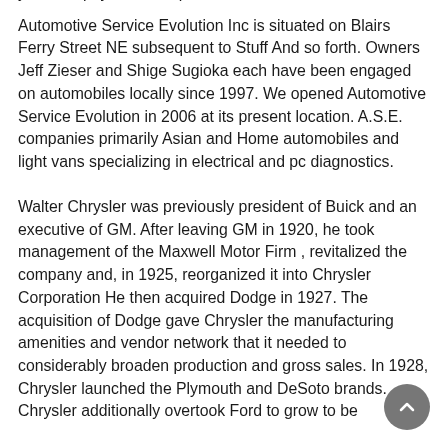your fuel payments drop within the course of.
Automotive Service Evolution Inc is situated on Blairs Ferry Street NE subsequent to Stuff And so forth. Owners Jeff Zieser and Shige Sugioka each have been engaged on automobiles locally since 1997. We opened Automotive Service Evolution in 2006 at its present location. A.S.E. companies primarily Asian and Home automobiles and light vans specializing in electrical and pc diagnostics.
Walter Chrysler was previously president of Buick and an executive of GM. After leaving GM in 1920, he took management of the Maxwell Motor Firm , revitalized the company and, in 1925, reorganized it into Chrysler Corporation He then acquired Dodge in 1927. The acquisition of Dodge gave Chrysler the manufacturing amenities and vendor network that it needed to considerably broaden production and gross sales. In 1928, Chrysler launched the Plymouth and DeSoto brands. Chrysler additionally overtook Ford to grow to be